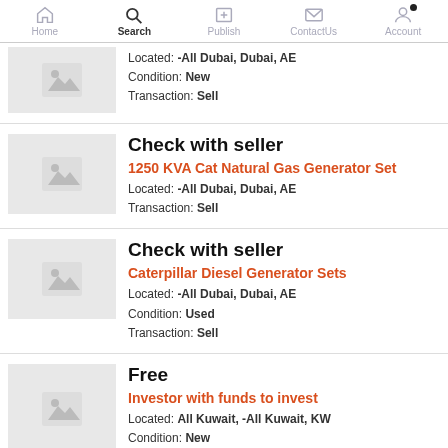Home | Search | Publish | ContactUs | Account
Located: -All Dubai, Dubai, AE | Condition: New | Transaction: Sell
Check with seller | 1250 KVA Cat Natural Gas Generator Set | Located: -All Dubai, Dubai, AE | Transaction: Sell
Check with seller | Caterpillar Diesel Generator Sets | Located: -All Dubai, Dubai, AE | Condition: Used | Transaction: Sell
Free | Investor with funds to invest | Located: All Kuwait, -All Kuwait, KW | Condition: New | Transaction: Sell